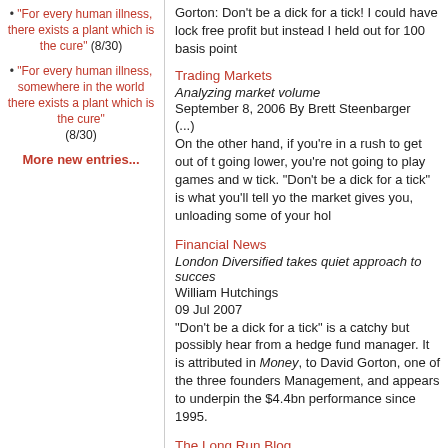"For every human illness, there exists a plant which is the cure" (8/30)
"For every human illness, somewhere in the world there exists a plant which is the cure" (8/30)
More new entries...
Gorton: Don't be a dick for a tick! I could have lock free profit but instead I held out for 100 basis point
Trading Markets
Analyzing market volume
September 8, 2006 By Brett Steenbarger
(...)
On the other hand, if you're in a rush to get out of going lower, you're not going to play games and w tick. "Don't be a dick for a tick" is what you'll tell yo the market gives you, unloading some of your hol
Financial News
London Diversified takes quiet approach to succes
William Hutchings
09 Jul 2007
"Don't be a dick for a tick" is a catchy but possibly hear from a hedge fund manager. It is attributed in Money, to David Gorton, one of the three founders Management, and appears to underpin the $4.4br performance since 1995.
The Long Run Blog
Market Lore
August 24, 2008 - Posted by Jon Blumenfeld